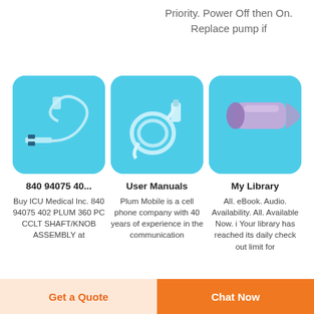Priority. Power Off then On. Replace pump if
[Figure (photo): IV infusion set / butterfly needle tubing on light blue background]
[Figure (photo): IV drip infusion tubing coiled on light blue background]
[Figure (photo): Purple/lavender medical tube cap on light blue background]
840 94075 40...
Buy ICU Medical Inc. 840 94075 402 PLUM 360 PC CCLT SHAFT/KNOB ASSEMBLY at
User Manuals
Plum Mobile is a cell phone company with 40 years of experience in the communication
My Library
All. eBook. Audio. Availability. All. Available Now. i Your library has reached its daily check out limit for
Get a Quote
Chat Now